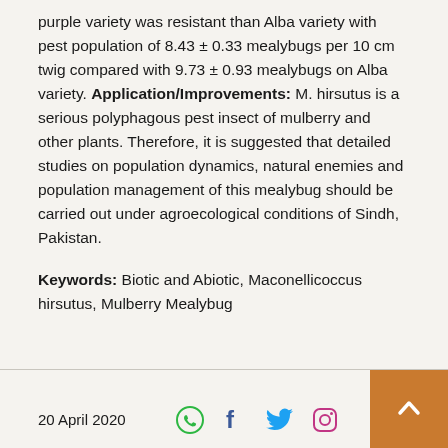purple variety was resistant than Alba variety with pest population of 8.43 ± 0.33 mealybugs per 10 cm twig compared with 9.73 ± 0.93 mealybugs on Alba variety. Application/Improvements: M. hirsutus is a serious polyphagous pest insect of mulberry and other plants. Therefore, it is suggested that detailed studies on population dynamics, natural enemies and population management of this mealybug should be carried out under agroecological conditions of Sindh, Pakistan.
Keywords: Biotic and Abiotic, Maconellicoccus hirsutus, Mulberry Mealybug
20 April 2020